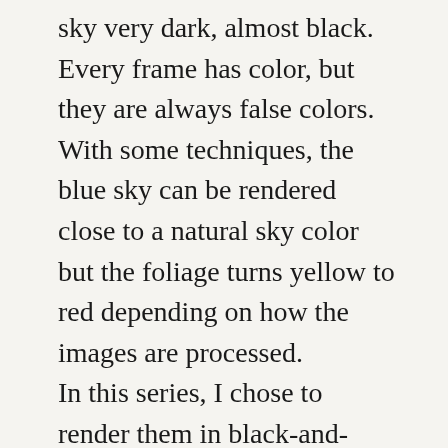sky very dark, almost black. Every frame has color, but they are always false colors. With some techniques, the blue sky can be rendered close to a natural sky color but the foliage turns yellow to red depending on how the images are processed.
In this series, I chose to render them in black-and-white to increase their abstract character. The rocks in the river bed and the mini waterfalls running over them created interesting patterns. Quite a few were captured looking almost straight down into the water yet show many interesting